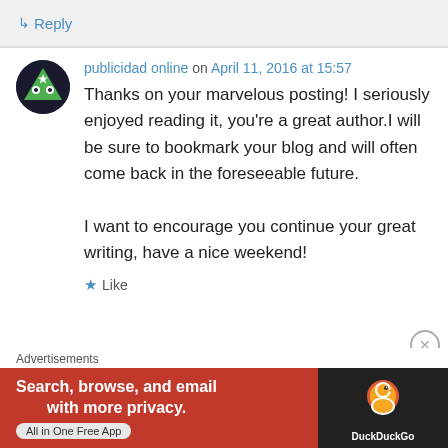↳ Reply
publicidad online on April 11, 2016 at 15:57
Thanks on your marvelous posting! I seriously enjoyed reading it, you're a great author.I will be sure to bookmark your blog and will often come back in the foreseeable future. I want to encourage you continue your great writing, have a nice weekend!
★ Like
Advertisements
[Figure (infographic): DuckDuckGo advertisement banner: orange/red background with text 'Search, browse, and email with more privacy. All in One Free App' and DuckDuckGo logo on dark background on the right side.]